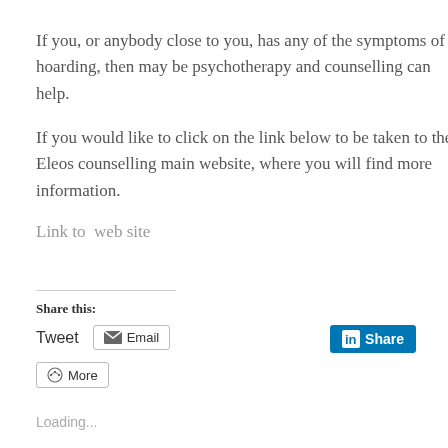If you, or anybody close to you, has any of the symptoms of hoarding, then may be psychotherapy and counselling can help.
If you would like to click on the link below to be taken to the Eleos counselling main website, where you will find more information.
Link to  web site
Share this:
Tweet  Email  Share  More
Loading...